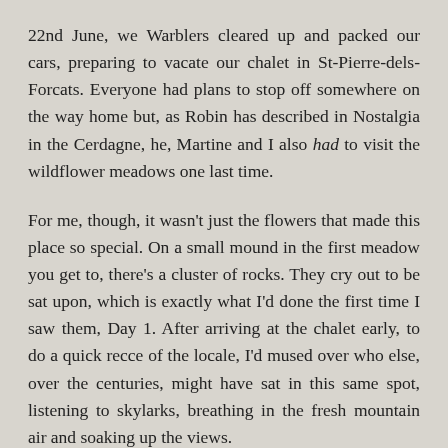22nd June, we Warblers cleared up and packed our cars, preparing to vacate our chalet in St-Pierre-dels-Forcats. Everyone had plans to stop off somewhere on the way home but, as Robin has described in Nostalgia in the Cerdagne, he, Martine and I also had to visit the wildflower meadows one last time.
For me, though, it wasn't just the flowers that made this place so special. On a small mound in the first meadow you get to, there's a cluster of rocks. They cry out to be sat upon, which is exactly what I'd done the first time I saw them, Day 1. After arriving at the chalet early, to do a quick recce of the locale, I'd mused over who else, over the centuries, might have sat in this same spot, listening to skylarks, breathing in the fresh mountain air and soaking up the views.
Because of my dog, and the convenience of such quiet tracks so close to the chalet, I'd strolled here several times each